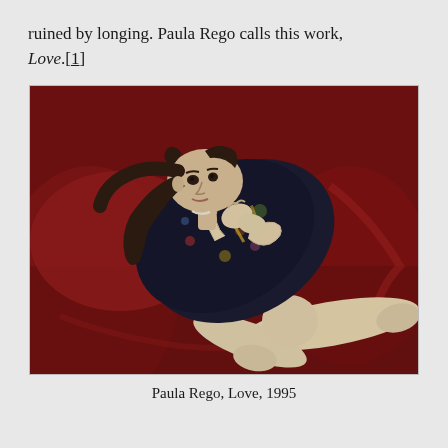ruined by longing. Paula Rego calls this work, Love.[1]
[Figure (photo): Painting by Paula Rego titled 'Love' (1995). A woman in a dark patterned dress reclines on a deep red fabric background. She is lying on her side, with her knees bent and legs extended. Her upper body is raised slightly, with hands near her chest, and she looks toward the viewer with a pensive expression. Her dark hair fans out around her head.]
Paula Rego, Love, 1995